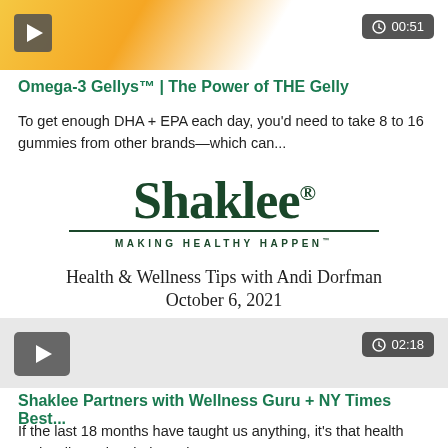[Figure (screenshot): Top video thumbnail with play button and 00:51 duration badge, showing colorful background with product imagery]
Omega-3 Gellys™ | The Power of THE Gelly
To get enough DHA + EPA each day, you'd need to take 8 to 16 gummies from other brands—which can...
[Figure (logo): Shaklee logo with tagline MAKING HEALTHY HAPPEN and event information: Health & Wellness Tips with Andi Dorfman, October 6, 2021]
[Figure (screenshot): Bottom video thumbnail with play button and 02:18 duration badge]
Shaklee Partners with Wellness Guru + NY Times Best...
If the last 18 months have taught us anything, it's that health and wellness is priority. Join...